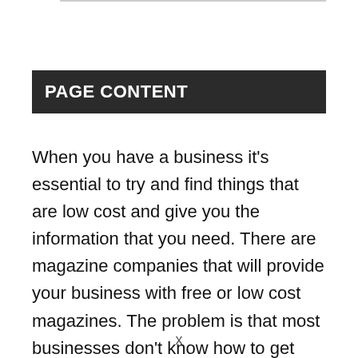PAGE CONTENT
When you have a business it's essential to try and find things that are low cost and give you the information that you need. There are magazine companies that will provide your business with free or low cost magazines. The problem is that most businesses don't know how to get them. What Kinds of Magazines are Free? There are many industries out there and not all will